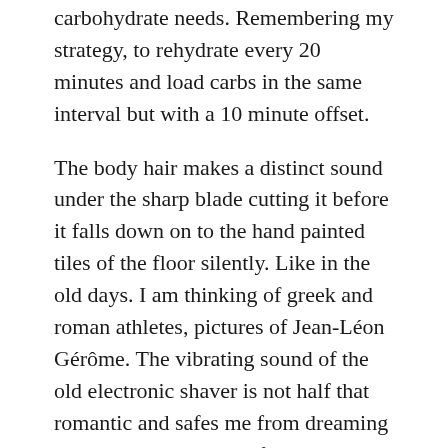carbohydrate needs. Remembering my strategy, to rehydrate every 20 minutes and load carbs in the same interval but with a 10 minute offset.
The body hair makes a distinct sound under the sharp blade cutting it before it falls down on to the hand painted tiles of the floor silently. Like in the old days. I am thinking of greek and roman athletes, pictures of Jean-Léon Gérôme. The vibrating sound of the old electronic shaver is not half that romantic and safes me from dreaming away. The cold water of the shower is the first reminder of what lies a head of me.
The cold mist in my face helps me to wake up